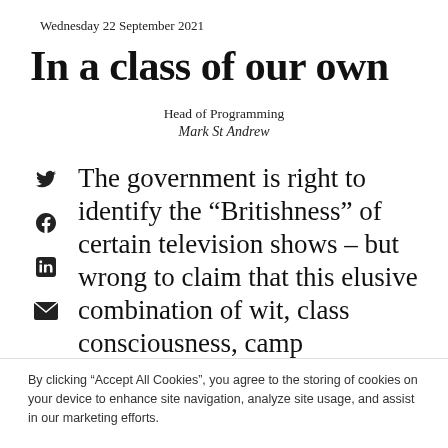Wednesday 22 September 2021
In a class of our own
Head of Programming
Mark St Andrew
The government is right to identify the “Britishness” of certain television shows – but wrong to claim that this elusive combination of wit, class consciousness, camp
By clicking “Accept All Cookies”, you agree to the storing of cookies on your device to enhance site navigation, analyze site usage, and assist in our marketing efforts.